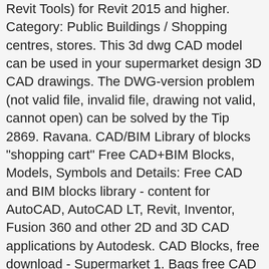Revit Tools) for Revit 2015 and higher. Category: Public Buildings / Shopping centres, stores. This 3d dwg CAD model can be used in your supermarket design 3D CAD drawings. The DWG-version problem (not valid file, invalid file, drawing not valid, cannot open) can be solved by the Tip 2869. Ravana. CAD/BIM Library of blocks "shopping cart" Free CAD+BIM Blocks, Models, Symbols and Details: Free CAD and BIM blocks library - content for AutoCAD, AutoCAD LT, Revit, Inventor, Fusion 360 and other 2D and 3D CAD applications by Autodesk. CAD Blocks, free download - Supermarket 1. Bags free CAD drawings The free collection of bags for free download. YOU WILL ALSO BE EMAILED A DOWNLOAD LINK FOR ALL THE DRAWINGS THAT YOU PURCHASED. ★Architecture CAD Details Bundle $ 69.00 $ 49.00 ★Best 37 Types of Commercial,Office Building Sketchup 3D Models Collection $ 69.00 $ 39.00 Architecture CAD Details Collections-Over 500+ various type of Steel Structure Details CAD Drawings $ 49.00 $ 39.00 Interior Design Full CAD Blocks Collections(Best Collections!!) Q: HOW MANY CAD BLOCKS OR DRAWINGS ARE IN EACH LIBRARY? March